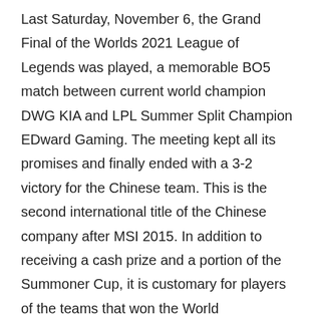Last Saturday, November 6, the Grand Final of the Worlds 2021 League of Legends was played, a memorable BO5 match between current world champion DWG KIA and LPL Summer Split Champion EDward Gaming. The meeting kept all its promises and finally ended with a 3-2 victory for the Chinese team. This is the second international title of the Chinese company after MSI 2015. In addition to receiving a cash prize and a portion of the Summoner Cup, it is customary for players of the teams that won the World Championship to select champions / skins with their effigy; As the winner of Worlds 2021, Edward Gaming members also had the opportunity to choose the champions they wanted to be the World's theme skins and worked with Riot Games to customize them.